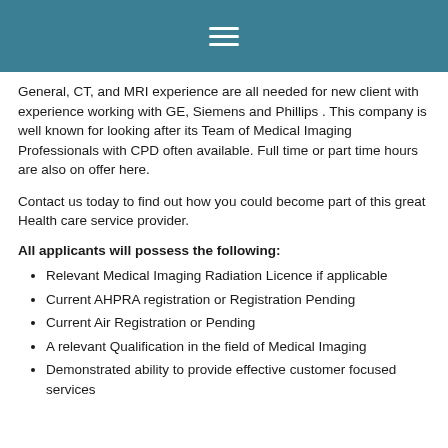General, CT, and MRI experience are all needed for new client with experience working with GE, Siemens and Phillips . This company is well known for looking after its Team of Medical Imaging Professionals with CPD often available. Full time or part time hours are also on offer here.
Contact us today to find out how you could become part of this great Health care service provider.
All applicants will possess the following:
Relevant Medical Imaging Radiation Licence if applicable
Current AHPRA registration or Registration Pending
Current Air Registration or Pending
A relevant Qualification in the field of Medical Imaging
Demonstrated ability to provide effective customer focused services